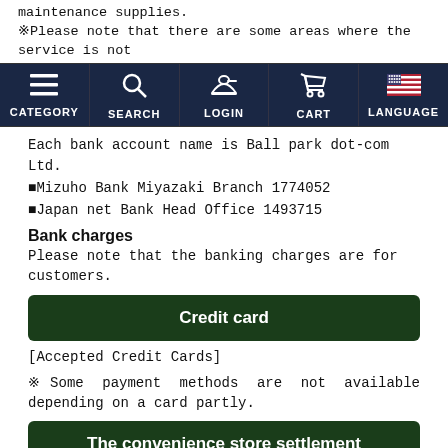maintenance supplies.
※Please note that there are some areas where the service is not
[Figure (screenshot): Navigation bar with dark navy background showing 5 icons: CATEGORY (hamburger menu), SEARCH (magnifying glass), LOGIN (cap/hat), CART (shopping cart), LANGUAGE (US flag)]
Each bank account name is Ball park dot-com Ltd.
■Mizuho Bank Miyazaki Branch 1774052
■Japan net Bank Head Office 1493715
Bank charges
Please note that the banking charges are for customers.
Credit card
[Accepted Credit Cards]
※Some payment methods are not available depending on a card partly.
The convenience store settlement
[Available Convenience Stores]
Seven-Eleven
Lawson